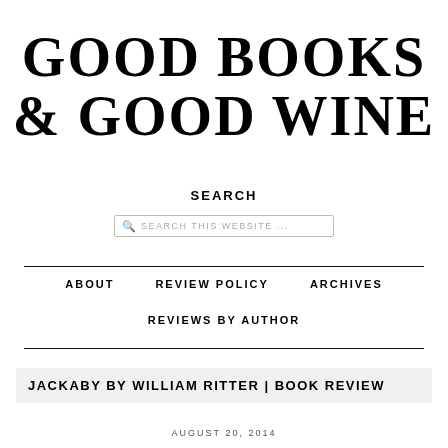GOOD BOOKS & GOOD WINE
SEARCH
SEARCH THIS WEBSITE ...
ABOUT   REVIEW POLICY   ARCHIVES
REVIEWS BY AUTHOR
JACKABY BY WILLIAM RITTER | BOOK REVIEW
AUGUST 20, 2014